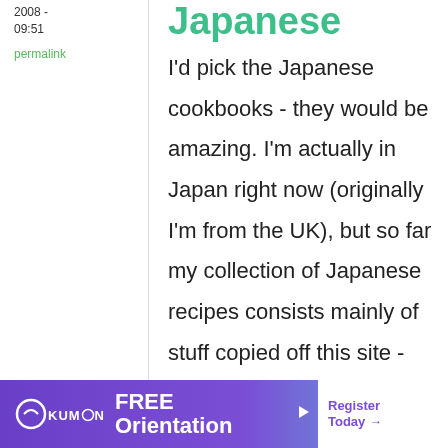2008 - 09:51
permalink
Japanese
I'd pick the Japanese cookbooks - they would be amazing. I'm actually in Japan right now (originally I'm from the UK), but so far my collection of Japanese recipes consists mainly of stuff copied off this site - be great to have some
[Figure (infographic): Kumon advertisement banner with purple/teal gradient background. Shows KUMON logo on left, FREE Orientation text in center, and Register Today button on right.]